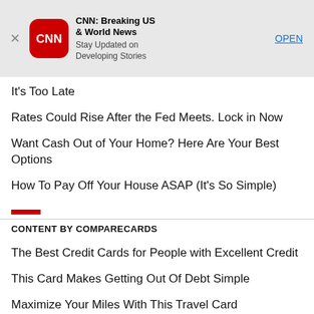[Figure (screenshot): CNN app store banner with CNN red rounded-square logo, title 'CNN: Breaking US & World News', subtitle 'Stay Updated on Developing Stories', and OPEN button. Close X on the left.]
It's Too Late
Rates Could Rise After the Fed Meets. Lock in Now
Want Cash Out of Your Home? Here Are Your Best Options
How To Pay Off Your House ASAP (It's So Simple)
CONTENT BY COMPARECARDS
The Best Credit Cards for People with Excellent Credit
This Card Makes Getting Out Of Debt Simple
Maximize Your Miles With This Travel Card